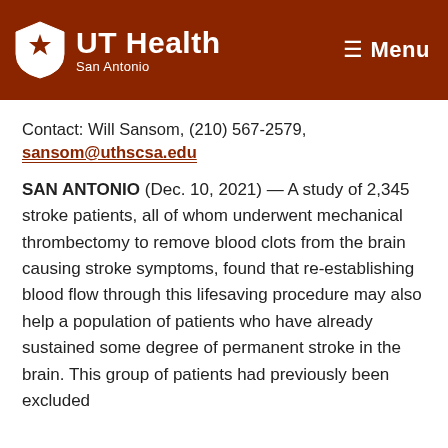UT Health San Antonio — Menu
Contact: Will Sansom, (210) 567-2579, sansom@uthscsa.edu
SAN ANTONIO (Dec. 10, 2021) — A study of 2,345 stroke patients, all of whom underwent mechanical thrombectomy to remove blood clots from the brain causing stroke symptoms, found that re-establishing blood flow through this lifesaving procedure may also help a population of patients who have already sustained some degree of permanent stroke in the brain. This group of patients had previously been excluded